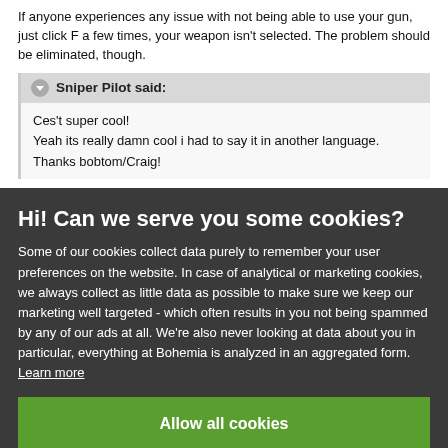If anyone experiences any issue with not being able to use your gun, just click F a few times, your weapon isn't selected. The problem should be eliminated, though.
Sniper Pilot said:
Ces't super cool!
Yeah its really damn cool i had to say it in another language.
Thanks bobtom/Craig!
Hi! Can we serve you some cookies?
Some of our cookies collect data purely to remember your user preferences on the website. In case of analytical or marketing cookies, we always collect as little data as possible to make sure we keep our marketing well targeted - which often results in you not being spammed by any of our ads at all. We're also never looking at data about you in particular, everything at Bohemia is analyzed in an aggregated form. Learn more
Allow all cookies
I want more options